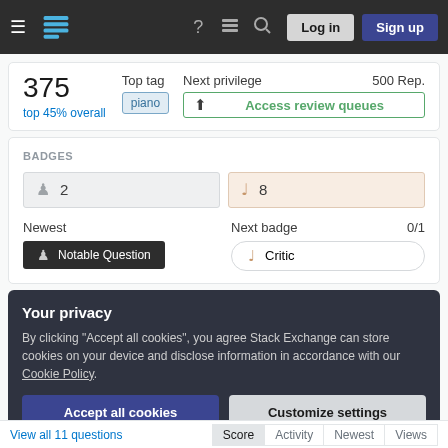Stack Exchange navigation bar with Log in and Sign up buttons
375
top 45% overall
Top tag
piano
Next privilege 500 Rep.
Access review queues
BADGES
2 (silver badges)
8 (bronze badges)
Newest
Notable Question
Next badge 0/1
Critic
Your privacy
By clicking "Accept all cookies", you agree Stack Exchange can store cookies on your device and disclose information in accordance with our Cookie Policy.
Accept all cookies
Customize settings
View all 11 questions	Score	Activity	Newest	Views